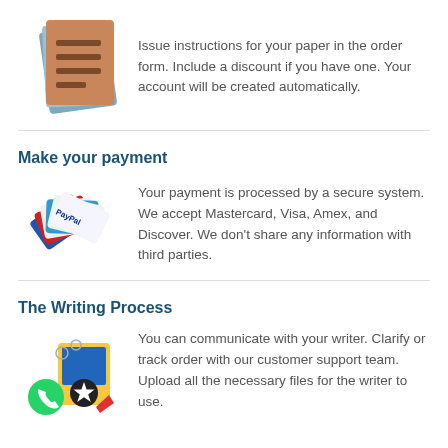[Figure (illustration): Stacked document pages icon with lines representing text]
Issue instructions for your paper in the order form. Include a discount if you have one. Your account will be created automatically.
Make your payment
[Figure (illustration): Fan of credit cards including Visa, Mastercard, Amex, Discover, and PayPal]
Your payment is processed by a secure system. We accept Mastercard, Visa, Amex, and Discover. We don't share any information with third parties.
The Writing Process
[Figure (illustration): WhatsApp icon, document with star badge, and pencil illustration]
You can communicate with your writer. Clarify or track order with our customer support team. Upload all the necessary files for the writer to use.